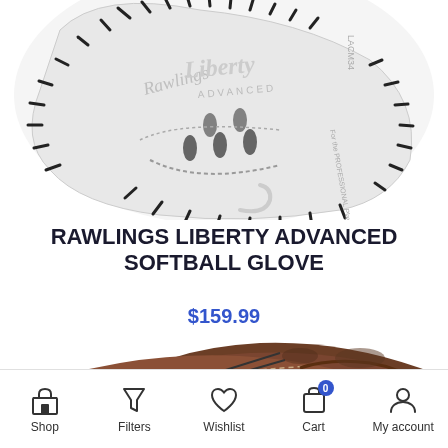[Figure (photo): White Rawlings Liberty Advanced softball glove with black lacing, showing front/palm view with Liberty Advanced branding and model LACM34]
RAWLINGS LIBERTY ADVANCED SOFTBALL GLOVE
$159.99
[Figure (photo): Brown leather softball glove, partial view from top]
Shop  Filters  Wishlist  Cart 0  My account